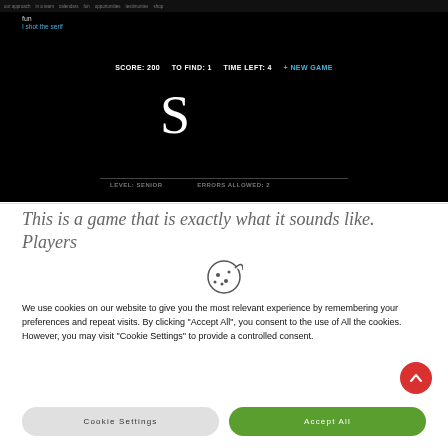[Figure (screenshot): Screenshot of a web-based font identification game showing a dark background with letters S and F (F in blue with a crosshair), score display showing SCORE: 200, TO FIND: 1, TIME LEFT: 4, and option for NEW GAME. Level shown as SENIOR, ERRORS ALLOWED: 2.]
This is a game that is exactly what it sounds like. Players
[Figure (illustration): Cookie icon - a cookie with bite taken out and circular dots]
We use cookies on our website to give you the most relevant experience by remembering your preferences and repeat visits. By clicking "Accept All", you consent to the use of All the cookies. However, you may visit "Cookie Settings" to provide a controlled consent.